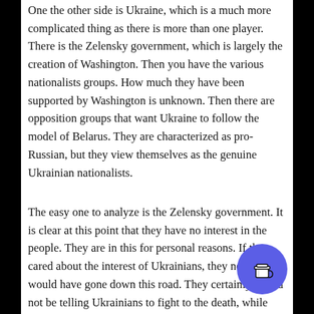One the other side is Ukraine, which is a much more complicated thing as there is more than one player. There is the Zelensky government, which is largely the creation of Washington. Then you have the various nationalists groups. How much they have been supported by Washington is unknown. Then there are opposition groups that want Ukraine to follow the model of Belarus. They are characterized as pro-Russian, but they view themselves as the genuine Ukrainian nationalists.
The easy one to analyze is the Zelensky government. It is clear at this point that they have no interest in the people. They are in this for personal reasons. If they cared about the interest of Ukrainians, they never would have gone down this road. They certainly would not be telling Ukrainians to fight to the death, while they shoot videos for Western consumption in Poland. Instead, they would be ready to take the deal on offer, but that is not where their bread is buttered, so the war continues.
The ultranationalists, on the other hand, are the mirror of the Zelensky government, in that they are motivated by